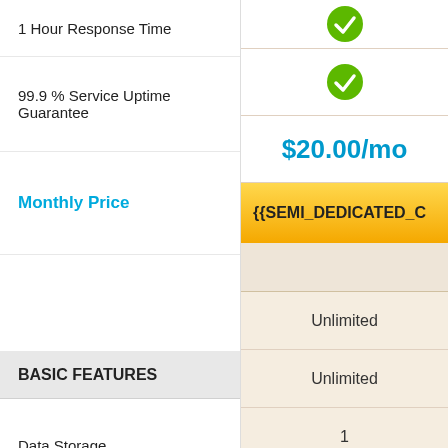1 Hour Response Time
99.9 % Service Uptime Guarantee
Monthly Price
$20.00/mo
{{SEMI_DEDICATED_C
BASIC FEATURES
Data Storage — Unlimited
Data Transfer — Unlimited
Max CPU Usage — 1
MySQL queries/h — 90000